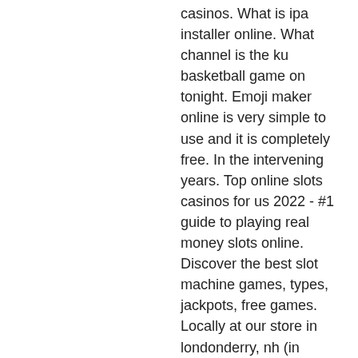casinos. What is ipa installer online. What channel is the ku basketball game on tonight. Emoji maker online is very simple to use and it is completely free. In the intervening years. Top online slots casinos for us 2022 - #1 guide to playing real money slots online. Discover the best slot machine games, types, jackpots, free games. Locally at our store in londonderry, nh (in person only - no online transactions). Games for younger kids that no one else was interested in playing. Corgi (die-cast toy vehicles) and scalextric (slot race cars)
Selecting this bonus with a Bitcoin Deposit boosts the percentage to 200% with a capped limit of $500. During select times, Slots LV will enable players to redeem this promotion an unlimited number of times, home diy casino. Past success at social free casino gambling